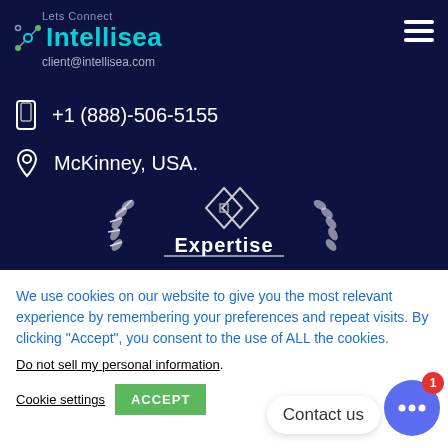[Figure (logo): Intellisea logo with 'Lets Connect' text above, network node icon, teal 'Intellisea' wordmark, and 'client@intellisea.com' below]
+1 (888)-506-5155
McKinney, USA.
[Figure (illustration): Expertise badge with diamond lattice logo, white laurel wreath branches on sides, and 'Expertise' text below]
We use cookies on our website to give you the most relevant experience by remembering your preferences and repeat visits. By clicking "Accept", you consent to the use of ALL the cookies.
Do not sell my personal information.
Cookie settings
ACCEPT
Contact us